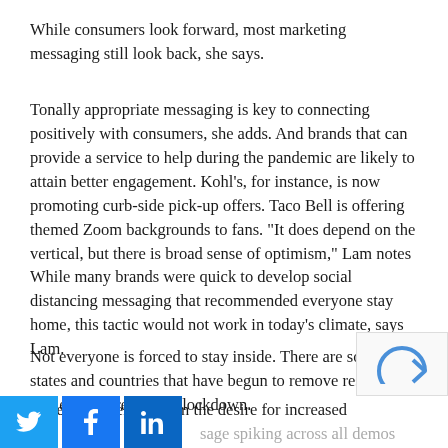While consumers look forward, most marketing messaging still look back, she says.
Tonally appropriate messaging is key to connecting positively with consumers, she adds. And brands that can provide a service to help during the pandemic are likely to attain better engagement. Kohl's, for instance, is now promoting curb-side pick-up offers. Taco Bell is offering themed Zoom backgrounds to fans. “It does depend on the vertical, but there is broad sense of optimism,” Lam notes
While many brands were quick to develop social distancing messaging that recommended everyone stay home, this tactic would not work in today’s climate, says Lam.
Not everyone is forced to stay inside. There are some states and countries that have begun to remove restrictions while others remain in lockdown.
Pinterest benefited from the desire for increased
sage spiking across all demos during